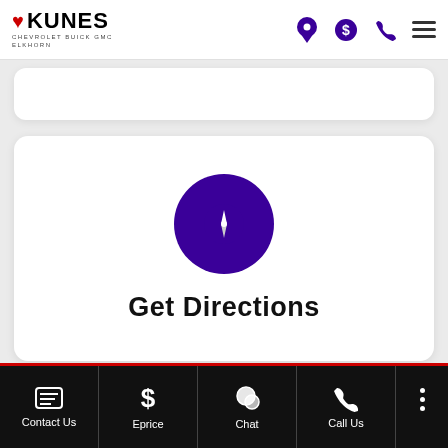[Figure (logo): Kunes Chevrolet Buick GMC Elkhorn logo with red heart icon]
[Figure (infographic): Header navigation icons: location pin, dollar sign, phone, hamburger menu in purple]
[Figure (infographic): Get Directions card with purple compass circle icon and bold text 'Get Directions']
[Figure (infographic): Partially visible bottom card with purple dollar-sign circle icon]
[Figure (infographic): Bottom navigation bar with Contact Us, Eprice, Chat, Call Us icons and More dots button]